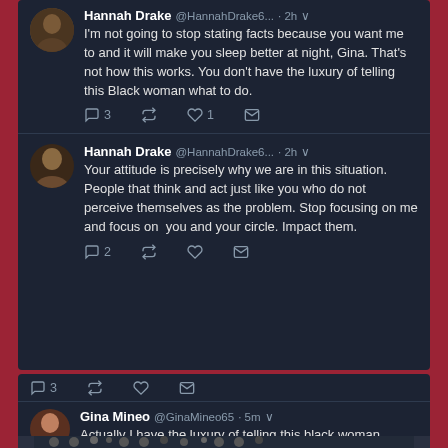[Figure (screenshot): Screenshot of Twitter conversation. Top card shows two tweets by Hannah Drake (@HannahDrake6...). First tweet (partial, 2h): 'I'm not going to stop stating facts because you want me to and it will make you sleep better at night, Gina. That's not how this works. You don't have the luxury of telling this Black woman what to do.' with 3 replies, retweet, 1 like, mail icons. Second tweet (2h): 'Your attitude is precisely why we are in this situation. People that think and act just like you who do not perceive themselves as the problem. Stop focusing on me and focus on you and your circle. Impact them.' with 2 replies, retweet, like, mail icons. Bottom card shows partial tweet with 3 replies, retweet, like, mail icons, then Gina Mineo (@GinaMineo65 · 5m) tweet: 'Actually I have the luxury of telling this black woman anything I want. It's called Twitter. You need to get a life clearly you didn't sleep' (cut off at bottom).]